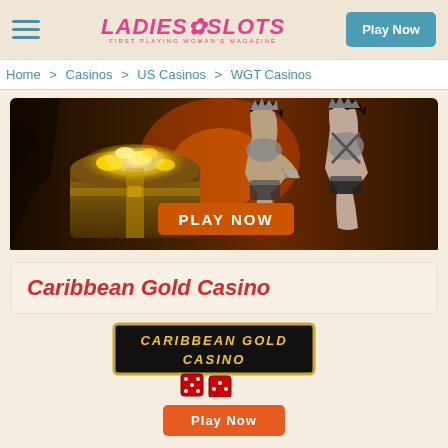LADIES SLOTS - FIRST PLAYING WOMAN'S MAGAZINE | Play Now
Home > Casinos > US Casinos > WGT Casinos
[Figure (photo): Casino banner image showing a treasure chest full of gold and two warrior women, with a 'PLAY NOW' orange button overlay]
Caribbean Gold Casino
[Figure (logo): Caribbean Gold Casino logo: dark background with gold border, yellow italic text reading CARIBBEAN GOLD CASINO with two red dice below]